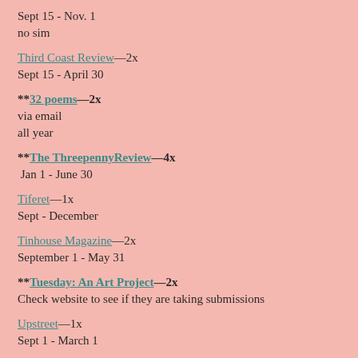Sept 15 - Nov. 1
no sim
Third Coast Review—2x
Sept 15 - April 30
**32 poems—2x
via email
all year
**The ThreepennyReview—4x
Jan 1 - June 30
Tiferet—1x
Sept - December
Tinhouse Magazine—2x
September 1 - May 31
**Tuesday: An Art Project—2x
Check website to see if they are taking submissions
Upstreet—1x
Sept 1 - March 1
Versal—1x
Sept 15 - Jan 15